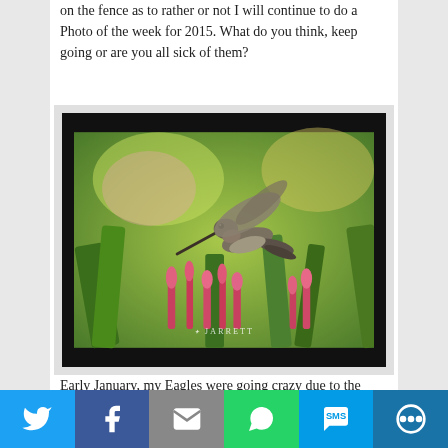on the fence as to rather or not I will continue to do a Photo of the week for 2015.  What do you think, keep going or are you all sick of them?
[Figure (photo): Framed photograph of a hummingbird in flight over pink tropical flowers and green garden foliage, with 'JARRETT' watermark at the bottom of the image.]
Early January, my Eagles were going crazy due to the cold and numbers were way up!  I spent 2 weekends
Social share bar with Twitter, Facebook, Email, WhatsApp, SMS, and More buttons